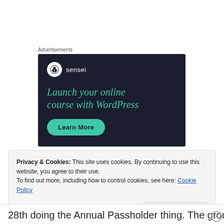Advertisements
[Figure (illustration): Sensei advertisement banner with dark background. Shows Sensei logo (tree icon in circle), headline 'Launch your online course with WordPress' in teal italic text, and a teal 'Learn More' button.]
Privacy & Cookies: This site uses cookies. By continuing to use this website, you agree to their use.
To find out more, including how to control cookies, see here: Cookie Policy
Close and accept
28th doing the Annual Passholder thing. The group will be